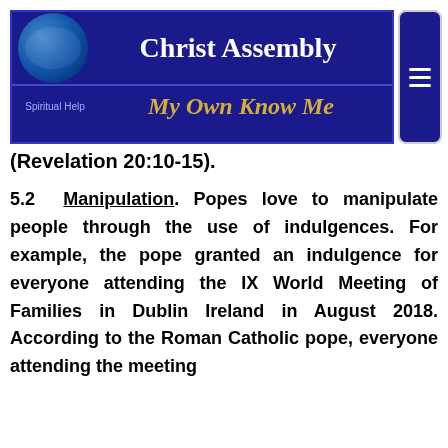[Figure (logo): Christ Assembly website header with globe logo, blue background, title 'Christ Assembly', subtitle 'My Own Know Me', and 'Spiritual Help' label]
(Revelation 20:10-15).
5.2 Manipulation. Popes love to manipulate people through the use of indulgences. For example, the pope granted an indulgence for everyone attending the IX World Meeting of Families in Dublin Ireland in August 2018. According to the Roman Catholic pope, everyone attending the meeting